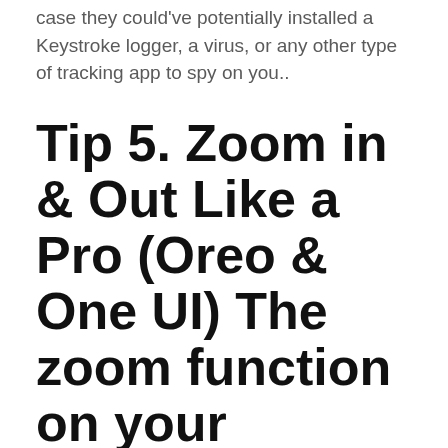case they could've potentially installed a Keystroke logger, a virus, or any other type of tracking app to spy on you..
Tip 5. Zoom in & Out Like a Pro (Oreo & One UI) The zoom function on your Galaxy's video camera is a handy feature for getting closeup shots of subjects at a distance